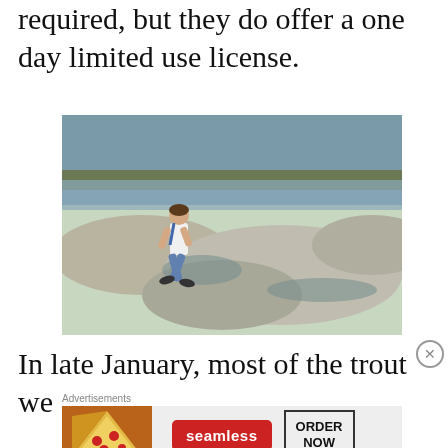required, but they do offer a one day limited use license.
[Figure (photo): A child running across exposed rocks and shallow water at a river or lake shoreline, with water and a vegetated bank in the background.]
In late January, most of the trout we
Advertisements
[Figure (screenshot): Seamless food delivery advertisement banner with pizza image, Seamless logo in red, and ORDER NOW button.]